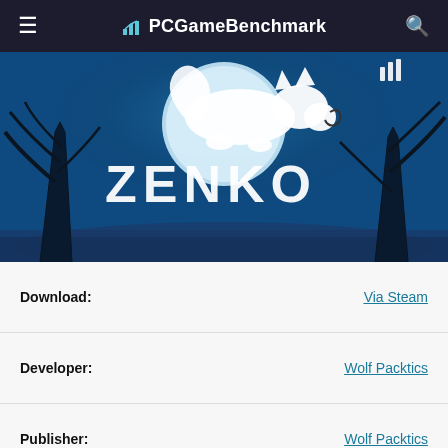PCGameBenchmark
[Figure (screenshot): Zenko: A Fox's Tale game banner with blue moonlit forest background, white fox silhouette, and ZENKO logo text in white]
| Download: | Via Steam |
| Developer: | Wolf Packtics |
| Publisher: | Wolf Packtics |
| Categories: | Casual Indie Adventure |
| Zenko: A Fox's Tale Release Date: | 6th of August 2021 |